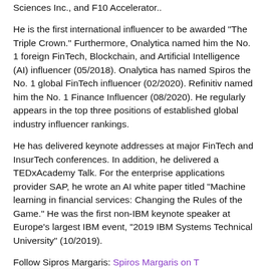Sciences Inc., and F10 Accelerator..
He is the first international influencer to be awarded "The Triple Crown." Furthermore, Onalytica named him the No. 1 foreign FinTech, Blockchain, and Artificial Intelligence (AI) influencer (05/2018). Onalytica has named Spiros the No. 1 global FinTech influencer (02/2020). Refinitiv named him the No. 1 Finance Influencer (08/2020). He regularly appears in the top three positions of established global industry influencer rankings.
He has delivered keynote addresses at major FinTech and InsurTech conferences. In addition, he delivered a TEDxAcademy Talk. For the enterprise applications provider SAP, he wrote an AI white paper titled "Machine learning in financial services: Changing the Rules of the Game." He was the first non-IBM keynote speaker at Europe's largest IBM event, "2019 IBM Systems Technical University" (10/2019).
Follow Sipros Margaris: Spiros Margaris on T[witter] Margaris on LinkedIn